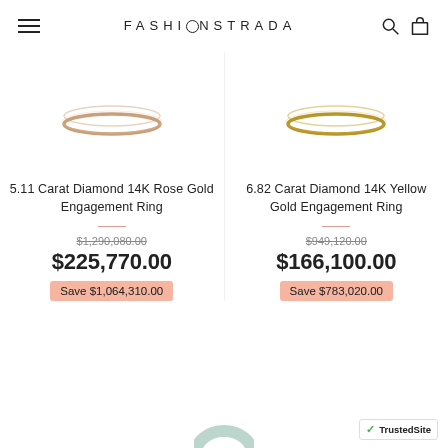FASHIONSTRADA
[Figure (photo): 5.11 Carat Diamond 14K Rose Gold Engagement Ring product image showing a thin gold ring band]
5.11 Carat Diamond 14K Rose Gold Engagement Ring
$1,290,080.00 (strikethrough original price)
$225,770.00
Save $1,064,310.00
[Figure (photo): 6.82 Carat Diamond 14K Yellow Gold Engagement Ring product image showing a thin yellow gold ring band]
6.82 Carat Diamond 14K Yellow Gold Engagement Ring
$949,120.00 (strikethrough original price)
$166,100.00
Save $783,020.00